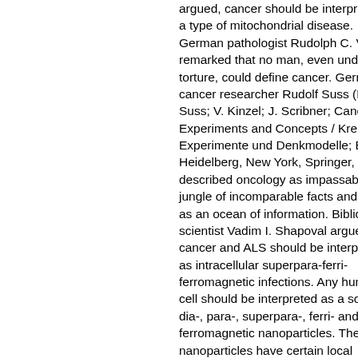argued, cancer should be interpreted as a type of mitochondrial disease. German pathologist Rudolph C. Vi remarked that no man, even under torture, could define cancer. German cancer researcher Rudolf Suss (R. Suss; V. Kinzel; J. Scribner; Cancer Experiments and Concepts / Krebs Experimente und Denkmodelle; Be Heidelberg, New York, Springer, 19 described oncology as impassable jungle of incomparable facts and id as an ocean of information. Biblical scientist Vadim I. Shapoval argues cancer and ALS should be interpreted as intracellular superpara-ferri-ferromagnetic infections. Any human cell should be interpreted as a soc dia-, para-, superpara-, ferri- and ferromagnetic nanoparticles. These nanoparticles have certain local magnetic contacts. Any human organism consists of normal cells ( with non-numerous superpara-, fer and ferromagnetic nanoparticles) a tumor cells (cells with numerous superpara-, ferri- and ferromagnetic nanoparticles). Intracellular molec FeO;Fe2O3;Fe3O4 are the main 'creators' of intracellular superpara